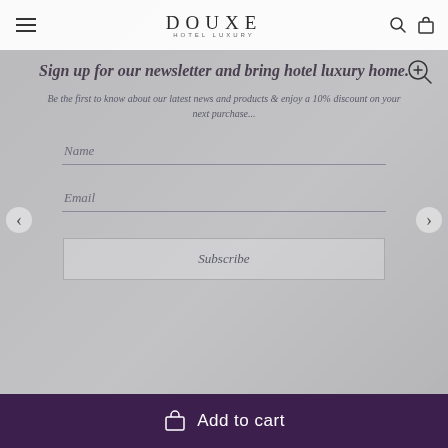[Figure (screenshot): Website screenshot of Douxe Hotel Luxury e-commerce page showing a newsletter signup modal overlay on top of a product image of a white luxury pillow. The page includes navigation bar with hamburger menu, Douxe Hotel Luxury logo, search and cart icons, a zoom icon, left/right carousel arrows, and an Add to Cart purple bar at the bottom.]
DOUXE HOTEL LUXURY
Sign up for our newsletter and bring hotel luxury home.
Be the first to know about our latest news and products & enjoy a 10% discount on your next purchase...
Name
Email
Subscribe
Add to cart